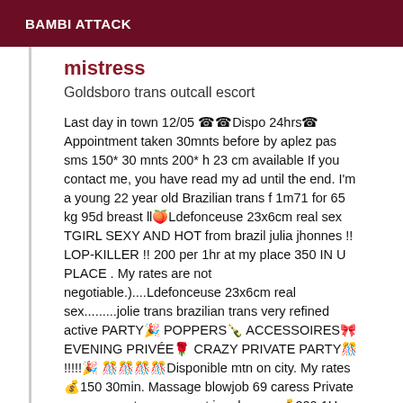BAMBI ATTACK
mistress
Goldsboro trans outcall escort
Last day in town 12/05 ☎☎Dispo 24hrs☎ Appointment taken 30mnts before by aplez pas sms 150* 30 mnts 200* h 23 cm available If you contact me, you have read my ad until the end. I'm a young 22 year old Brazilian trans f 1m71 for 65 kg 95d breast ll🍑Ldefonceuse 23x6cm real sex TGIRL SEXY AND HOT from brazil julia jhonnes !! LOP-KILLER !! 200 per 1hr at my place 350 IN U PLACE . My rates are not negotiable.)....Ldefonceuse 23x6cm real sex.........jolie trans brazilian trans very refined active PARTY🎉 POPPERS🍾 ACCESSOIRES🎀 EVENING PRIVÉE🌹 CRAZY PRIVATE PARTY🎊 !!!!!🎉 🎊🎊🎊🎊Disponible mtn on city. My rates 💰150 30min. Massage blowjob 69 caress Private poppers party on request in advance 💰200 1H. With a protect report Julia Jhonnes Porn Star 💰350 1 H.